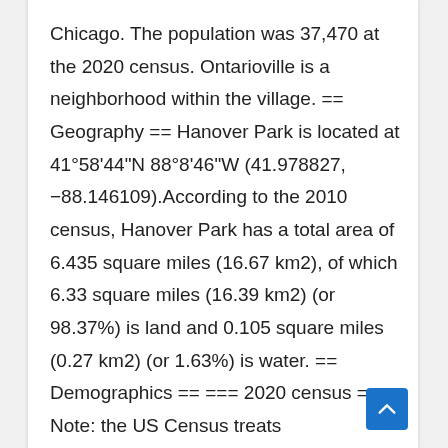Chicago. The population was 37,470 at the 2020 census. Ontarioville is a neighborhood within the village. == Geography == Hanover Park is located at 41°58'44"N 88°8'46"W (41.978827, −88.146109).According to the 2010 census, Hanover Park has a total area of 6.435 square miles (16.67 km2), of which 6.33 square miles (16.39 km2) (or 98.37%) is land and 0.105 square miles (0.27 km2) (or 1.63%) is water. == Demographics == === 2020 census === Note: the US Census treats Hispanic/Latino as an ethnic category.